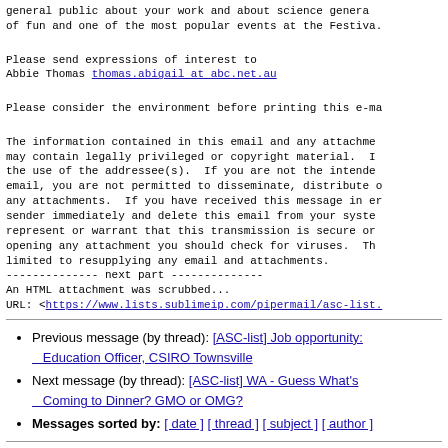general public about your work and about science genera... of fun and one of the most popular events at the Festiva...
Please send expressions of interest to
Abbie Thomas thomas.abigail at abc.net.au
Please consider the environment before printing this e-ma...
The information contained in this email and any attachme... may contain legally privileged or copyright material. ... the use of the addressee(s). If you are not the intende... email, you are not permitted to disseminate, distribute ... any attachments. If you have received this message in e... sender immediately and delete this email from your syste... represent or warrant that this transmission is secure or... opening any attachment you should check for viruses. Th... limited to resupplying any email and attachments.
-------------- next part --------------
An HTML attachment was scrubbed...
URL: <https://www.lists.sublimeip.com/pipermail/asc-list...>
Previous message (by thread): [ASC-list] Job opportunity: Education Officer, CSIRO Townsville
Next message (by thread): [ASC-list] WA - Guess What's Coming to Dinner? GMO or OMG?
Messages sorted by: [ date ] [ thread ] [ subject ] [ author ]